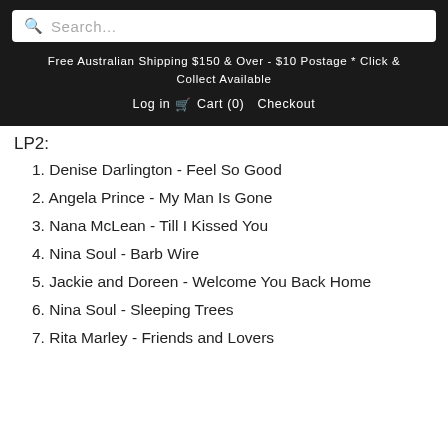Search...
Free Australian Shipping $150 & Over - $10 Postage * Click & Collect Available
Log in  Cart (0)  Checkout
LP2:
1. Denise Darlington - Feel So Good
2. Angela Prince - My Man Is Gone
3. Nana McLean - Till I Kissed You
4. Nina Soul - Barb Wire
5. Jackie and Doreen - Welcome You Back Home
6. Nina Soul - Sleeping Trees
7. Rita Marley - Friends and Lovers